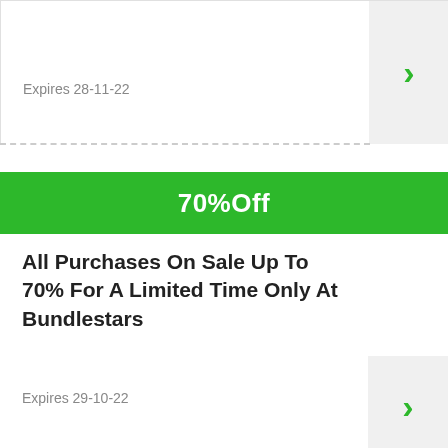Expires 28-11-22
70%Off
All Purchases On Sale Up To 70% For A Limited Time Only At Bundlestars
Expires 29-10-22
96%Off
96% Your Online Purchase On Toys
Expires 29-10-22